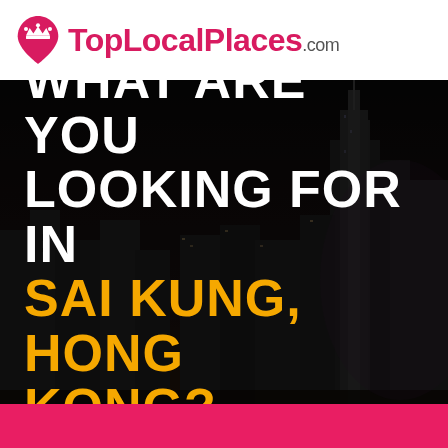[Figure (logo): TopLocalPlaces.com logo with a pink map pin / location marker icon on the left and the text TopLocalPlaces.com in bold pink and grey on a white background]
[Figure (photo): Dark nighttime cityscape of Hong Kong skyline with skyscrapers, overlaid with large bold text reading WHAT ARE YOU LOOKING FOR IN SAI KUNG, HONG KONG? in white and orange, and a pink button strip at the bottom]